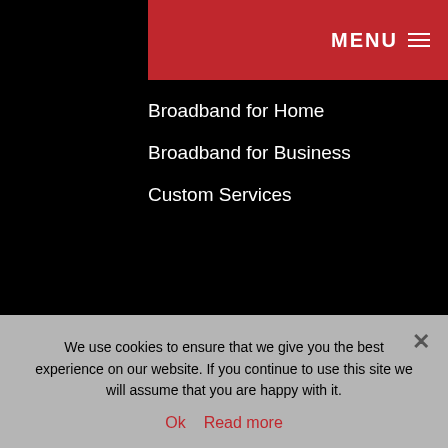MENU
Broadband for Home
Broadband for Business
Custom Services
LEGAL NOTICES
Cookie Policy
Privacy Policy
Terms of Use
Company Information
We use cookies to ensure that we give you the best experience on our website. If you continue to use this site we will assume that you are happy with it.
Ok   Read more